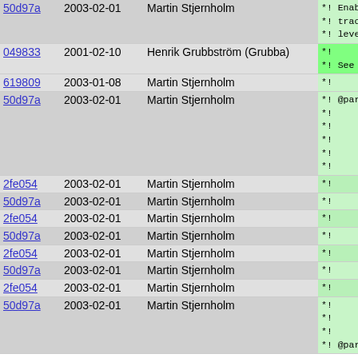| Hash | Date | Author | Code |
| --- | --- | --- | --- |
| 50d97a | 2003-02-01 | Martin Stjernholm | *! Enabling
*! trace le
*! level is |
| 049833 | 2001-02-10 | Henrik Grubbström (Grubba) | *!
*! See the |
| 619809 | 2003-01-08 | Martin Stjernholm | *! |
| 50d97a | 2003-02-01 | Martin Stjernholm | *! @param .
*!     If @[
*!     trace
*!     trace
*!
*!     @int |
| 2fe054 | 2003-02-01 | Martin Stjernholm | *!     @value |
| 50d97a | 2003-02-01 | Martin Stjernholm | *!     Trac |
| 2fe054 | 2003-02-01 | Martin Stjernholm | *!     @value |
| 50d97a | 2003-02-01 | Martin Stjernholm | *!     Trac |
| 2fe054 | 2003-02-01 | Martin Stjernholm | *!     @value |
| 50d97a | 2003-02-01 | Martin Stjernholm | *!     Trac |
| 2fe054 | 2003-02-01 | Martin Stjernholm | *!     @value |
| 50d97a | 2003-02-01 | Martin Stjernholm | *!     Also
*!     @endir
*!
*! @param |